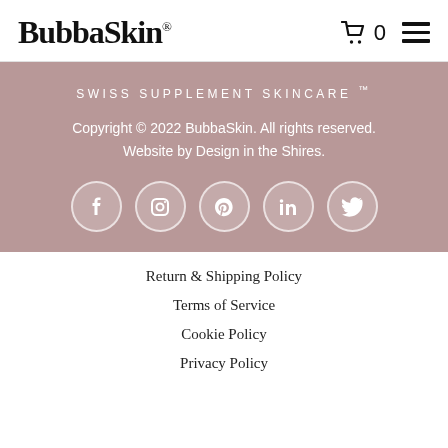BubbaSkin® 0 ☰
SWISS SUPPLEMENT SKINCARE ™
Copyright © 2022 BubbaSkin. All rights reserved. Website by Design in the Shires.
[Figure (other): Social media icons: Facebook, Instagram, Pinterest, LinkedIn, Twitter in white circles on mauve background]
Return & Shipping Policy
Terms of Service
Cookie Policy
Privacy Policy